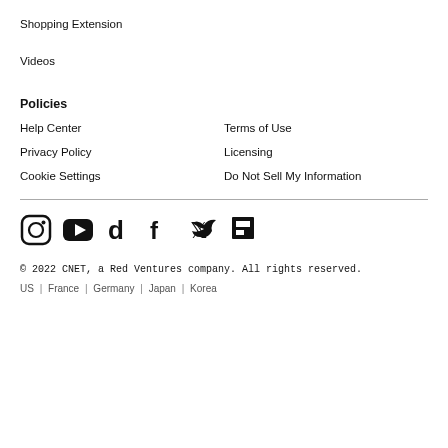Shopping Extension
Videos
Policies
Help Center
Terms of Use
Privacy Policy
Licensing
Cookie Settings
Do Not Sell My Information
[Figure (infographic): Social media icons row: Instagram, YouTube, TikTok, Facebook, Twitter, Flipboard]
© 2022 CNET, a Red Ventures company. All rights reserved.
US | France | Germany | Japan | Korea